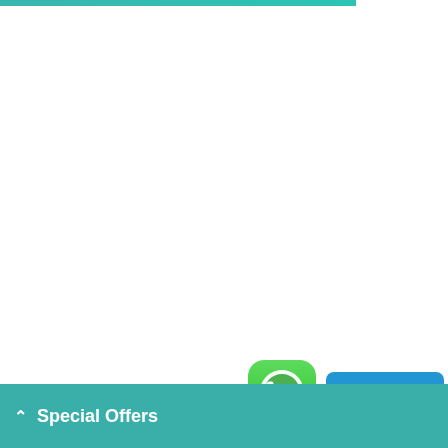[Figure (screenshot): Teal horizontal top bar at the top of the page]
[Figure (logo): WhatsApp green rounded square icon with phone handset logo]
[Figure (infographic): Blue 'Need help?' button with chat bubble icon]
^ Special Offers